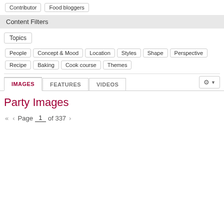Contributor  Food bloggers
Content Filters
Topics
People
Concept & Mood
Location
Styles
Shape
Perspective
Recipe
Baking
Cook course
Themes
IMAGES  FEATURES  VIDEOS
Party Images
Page 1 of 337